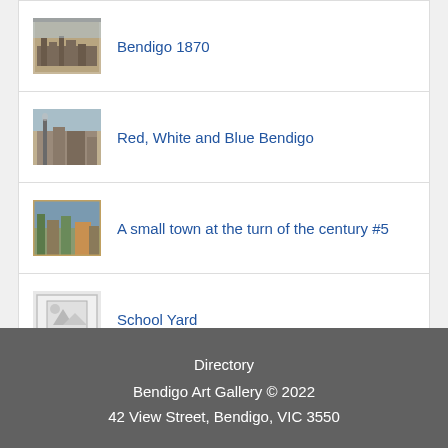Bendigo 1870
Red, White and Blue Bendigo
A small town at the turn of the century #5
School Yard
Directory
Bendigo Art Gallery © 2022
42 View Street, Bendigo, VIC 3550